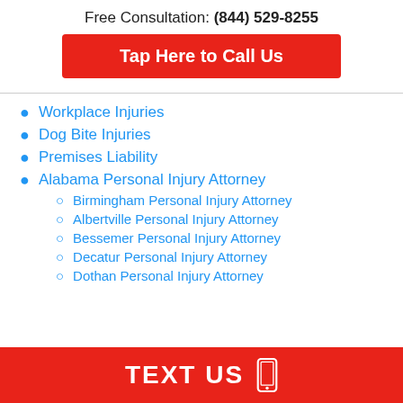Free Consultation: (844) 529-8255
Tap Here to Call Us
Workplace Injuries
Dog Bite Injuries
Premises Liability
Alabama Personal Injury Attorney
Birmingham Personal Injury Attorney
Albertville Personal Injury Attorney
Bessemer Personal Injury Attorney
Decatur Personal Injury Attorney
Dothan Personal Injury Attorney
TEXT US